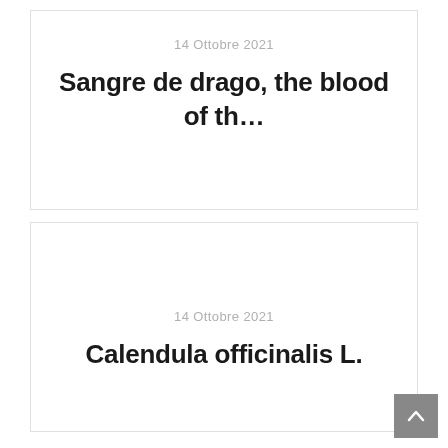14 Ottobre 2021
Sangre de drago, the blood of th...
14 Ottobre 2021
Calendula officinalis L.